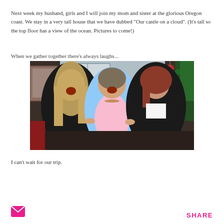Next week my husband, girls and I will join my mom and sister at the glorious Oregon coast. We stay in a very tall house that we have dubbed "Our castle on a cloud". (It's tall so the top floor has a view of the ocean. Pictures to come!)
When we gather together there's always laughs...
[Figure (photo): Three women smiling and laughing together indoors, posing for a group photo. The woman on the left has long blonde hair and is laughing heartily. The woman in the middle is older, wearing a light blue cardigan and pink top. The woman on the right has reddish-brown hair and is wearing a black jacket.]
I can't wait for our trip.
SHARE